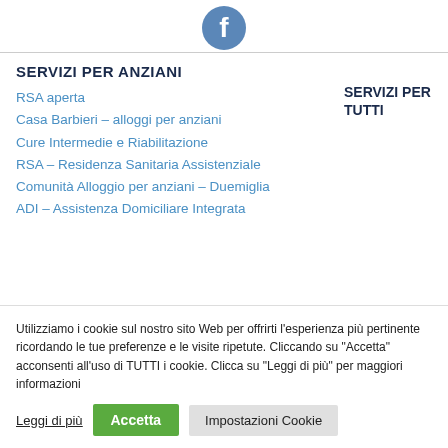[Figure (logo): Facebook logo icon in circular blue background at top center]
SERVIZI PER ANZIANI
RSA aperta
Casa Barbieri – alloggi per anziani
Cure Intermedie e Riabilitazione
RSA – Residenza Sanitaria Assistenziale
Comunità Alloggio per anziani – Duemiglia
ADI – Assistenza Domiciliare Integrata
SERVIZI PER TUTTI
Utilizziamo i cookie sul nostro sito Web per offrirti l'esperienza più pertinente ricordando le tue preferenze e le visite ripetute. Cliccando su "Accetta" acconsenti all'uso di TUTTI i cookie. Clicca su "Leggi di più" per maggiori informazioni
Leggi di più | Accetta | Impostazioni Cookie